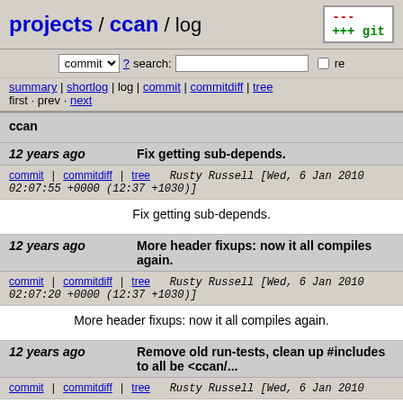projects / ccan / log
commit ? search: re
summary | shortlog | log | commit | commitdiff | tree
first · prev · next
ccan
12 years ago   Fix getting sub-depends.
commit | commitdiff | tree   Rusty Russell [Wed, 6 Jan 2010 02:07:55 +0000 (12:37 +1030)]
Fix getting sub-depends.
12 years ago   More header fixups: now it all compiles again.
commit | commitdiff | tree   Rusty Russell [Wed, 6 Jan 2010 02:07:20 +0000 (12:37 +1030)]
More header fixups: now it all compiles again.
12 years ago   Remove old run-tests, clean up #includes to all be <ccan/...
commit | commitdiff | tree   Rusty Russell [Wed, 6 Jan 2010